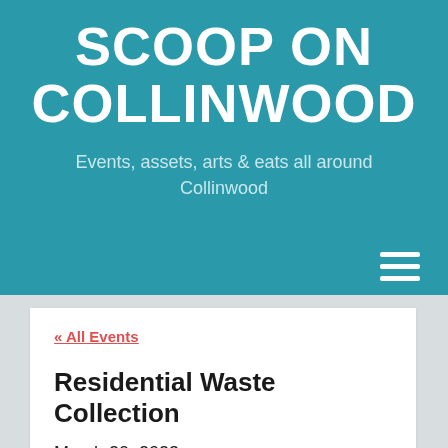SCOOP ON COLLINWOOD
Events, assets, arts & eats all around Collinwood
« All Events
Residential Waste Collection
March 20, 2023